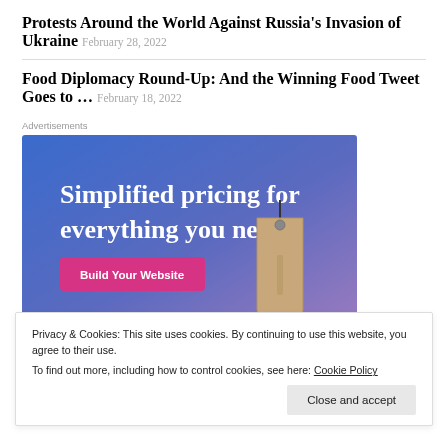Protests Around the World Against Russia's Invasion of Ukraine  February 28, 2022
Food Diplomacy Round-Up: And the Winning Food Tweet Goes to …  February 18, 2022
Advertisements
[Figure (photo): Advertisement banner: 'Simplified pricing for everything you need. Build Your Website' with a price tag image on blue/purple gradient background]
Privacy & Cookies: This site uses cookies. By continuing to use this website, you agree to their use.
To find out more, including how to control cookies, see here: Cookie Policy
Close and accept